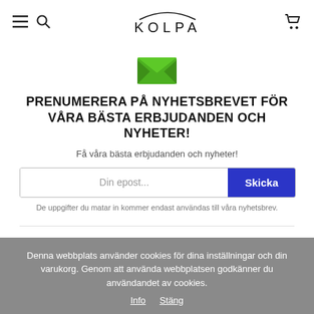KOLPA
[Figure (illustration): Green envelope icon representing newsletter subscription]
PRENUMERERA PÅ NYHETSBREVET FÖR VÅRA BÄSTA ERBJUDANDEN OCH NYHETER!
Få våra bästa erbjudanden och nyheter!
Din epost... [input field] Skicka [button]
De uppgifter du matar in kommer endast användas till våra nyhetsbrev.
Denna webbplats använder cookies för dina inställningar och din varukorg. Genom att använda webbplatsen godkänner du användandet av cookies.
Info  Stäng